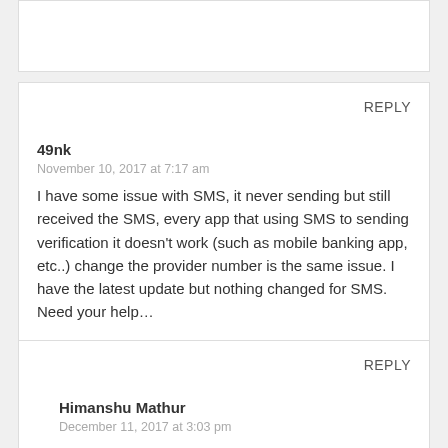REPLY
49nk
November 10, 2017 at 7:17 am
I have some issue with SMS, it never sending but still received the SMS, every app that using SMS to sending verification it doesn’t work (such as mobile banking app, etc..) change the provider number is the same issue. I have the latest update but nothing changed for SMS.
Need your help…
REPLY
Himanshu Mathur
December 11, 2017 at 3:03 pm
I am having the same issue. If you somewhere